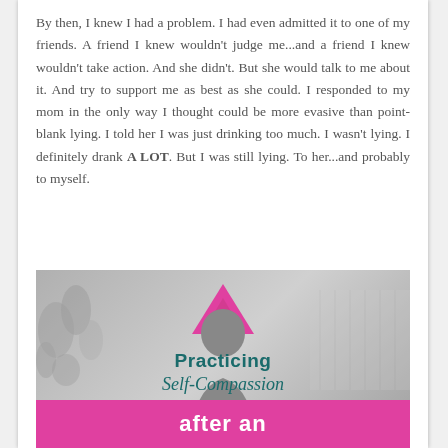By then, I knew I had a problem. I had even admitted it to one of my friends. A friend I knew wouldn't judge me...and a friend I knew wouldn't take action. And she didn't. But she would talk to me about it. And try to support me as best as she could. I responded to my mom in the only way I thought could be more evasive than point-blank lying. I told her I was just drinking too much. I wasn't lying. I definitely drank A LOT. But I was still lying. To her...and probably to myself.
[Figure (infographic): Infographic image with a pink triangle at top, a grayscale background with a person silhouette and leaves, text reading 'Practicing Self-Compassion' in teal, and a pink banner at the bottom reading 'after an']